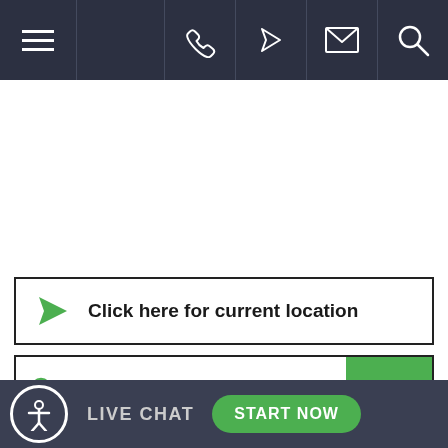[Figure (screenshot): Mobile website navigation bar with hamburger menu icon on the left and phone, location, email, and search icons on the right, on a dark navy background]
Click here for current location
Enter your zip code
GO
1145 Walt Whitman Road
Melville, New York 11747-3005
LIVE CHAT
START NOW